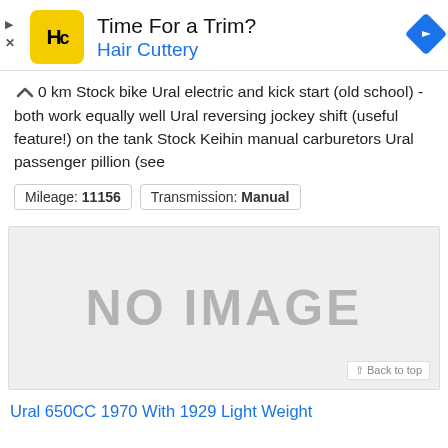[Figure (other): Hair Cuttery advertisement banner with yellow HC logo, text 'Time For a Trim?' and 'Hair Cuttery', blue navigation arrow icon on right]
0 km Stock bike Ural electric and kick start (old school) - both work equally well Ural reversing jockey shift (useful feature!) on the tank Stock Keihin manual carburetors Ural passenger pillion (see
Mileage: 11156   Transmission: Manual
[Figure (other): NO IMAGE placeholder box with 'Back to top' button in bottom right corner]
Ural 650CC 1970 With 1929 Light Weight